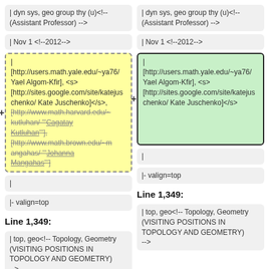| dyn sys, geo group thy (u)<!-- (Assistant Professor) -->
| dyn sys, geo group thy (u)<!-- (Assistant Professor) -->
| Nov 1 <!--2012-->
| Nov 1 <!--2012-->
| [http://users.math.yale.edu/~ya76/ Yael Algom-Kfir], <s>[http://sites.google.com/site/katejuschenko/ Kate Juschenko]</s>, [http://www.math.harvard.edu/~kutluhan/ '''Cagatay Kutluhan'''], [http://www.math.brown.edu/~mangahas/ '''Johanna Mangahas''']
| [http://users.math.yale.edu/~ya76/ Yael Algom-Kfir], <s>[http://sites.google.com/site/katejuschenko/ Kate Juschenko]</s>
|
|
|- valign=top
|- valign=top
Line 1,349:
Line 1,349:
| top, geo<!-- Topology, Geometry (VISITING POSITIONS IN TOPOLOGY AND GEOMETRY) -->
| top, geo<!-- Topology, Geometry (VISITING POSITIONS IN TOPOLOGY AND GEOMETRY) -->